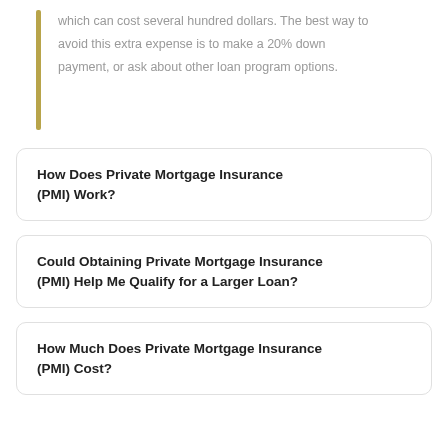which can cost several hundred dollars. The best way to avoid this extra expense is to make a 20% down payment, or ask about other loan program options.
How Does Private Mortgage Insurance (PMI) Work?
Could Obtaining Private Mortgage Insurance (PMI) Help Me Qualify for a Larger Loan?
How Much Does Private Mortgage Insurance (PMI) Cost?